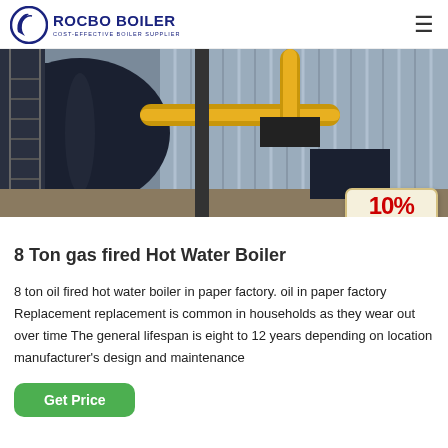ROCBO BOILER — COST-EFFECTIVE BOILER SUPPLIER
[Figure (photo): Industrial boiler installation in a factory, showing a large dark cylindrical boiler with yellow pipes and fittings, metal stairs on left, corrugated metal wall in background. A 10% DISCOUNT badge overlays the bottom-right corner.]
8 Ton gas fired Hot Water Boiler
8 ton oil fired hot water boiler in paper factory. oil in paper factory Replacement replacement is common in households as they wear out over time The general lifespan is eight to 12 years depending on location manufacturer's design and maintenance
Get Price